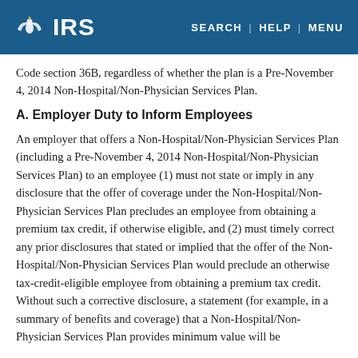IRS — SEARCH | HELP | MENU
Code section 36B, regardless of whether the plan is a Pre-November 4, 2014 Non-Hospital/Non-Physician Services Plan.
A. Employer Duty to Inform Employees
An employer that offers a Non-Hospital/Non-Physician Services Plan (including a Pre-November 4, 2014 Non-Hospital/Non-Physician Services Plan) to an employee (1) must not state or imply in any disclosure that the offer of coverage under the Non-Hospital/Non-Physician Services Plan precludes an employee from obtaining a premium tax credit, if otherwise eligible, and (2) must timely correct any prior disclosures that stated or implied that the offer of the Non-Hospital/Non-Physician Services Plan would preclude an otherwise tax-credit-eligible employee from obtaining a premium tax credit. Without such a corrective disclosure, a statement (for example, in a summary of benefits and coverage) that a Non-Hospital/Non-Physician Services Plan provides minimum value will be